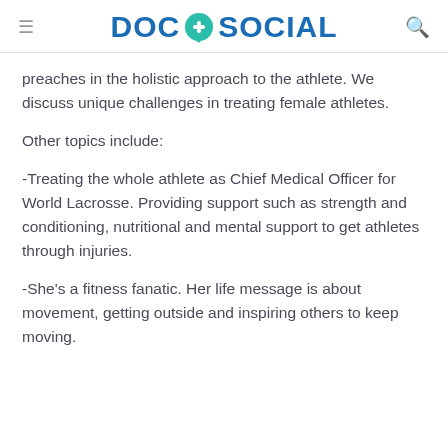DOC + SOCIAL
preaches in the holistic approach to the athlete. We discuss unique challenges in treating female athletes.
Other topics include:
-Treating the whole athlete as Chief Medical Officer for World Lacrosse. Providing support such as strength and conditioning, nutritional and mental support to get athletes through injuries.
-She's a fitness fanatic. Her life message is about movement, getting outside and inspiring others to keep moving.